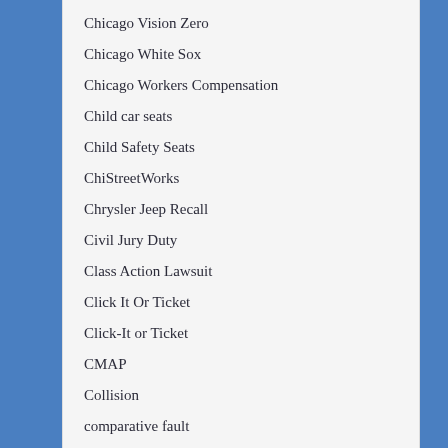Chicago Vision Zero
Chicago White Sox
Chicago Workers Compensation
Child car seats
Child Safety Seats
ChiStreetWorks
Chrysler Jeep Recall
Civil Jury Duty
Class Action Lawsuit
Click It Or Ticket
Click-It or Ticket
CMAP
Collision
comparative fault
Complete Streets Program